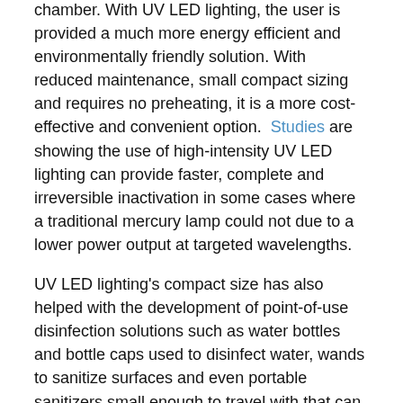chamber.  With UV LED lighting, the user is provided a much more energy efficient and environmentally friendly solution.  With reduced maintenance, small compact sizing and requires no preheating, it is a more cost-effective and convenient option.  Studies are showing the use of high-intensity UV LED lighting can provide faster, complete and irreversible inactivation in some cases where a traditional mercury lamp could not due to a lower power output at targeted wavelengths.
UV LED lighting's compact size has also helped with the development of point-of-use disinfection solutions such as water bottles and bottle caps used to disinfect water, wands to sanitize surfaces and even portable sanitizers small enough to travel with that can be used on phones, keys and other small objects.
Summary:
So really, UV C applications have come a long way from...